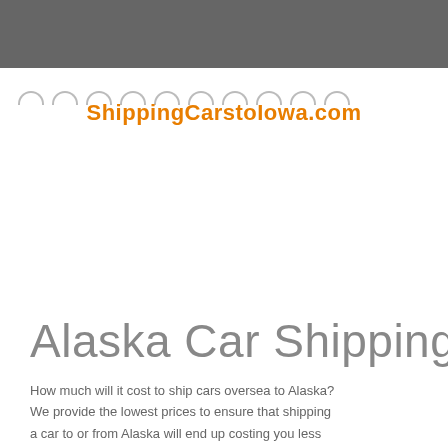ShippingCarstoIowa.com
Alaska Car Shipping
How much will it cost to ship cars oversea to Alaska? We provide the lowest prices to ensure that shipping a car to or from Alaska will end up costing you less